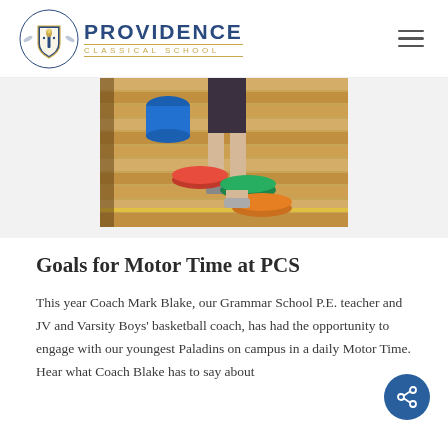Providence Classical School
[Figure (photo): Child stepping on colorful disc markers (blue, red, green, orange) on a wooden gym floor during motor time activity]
Goals for Motor Time at PCS
This year Coach Mark Blake, our Grammar School P.E. teacher and JV and Varsity Boys' basketball coach, has had the opportunity to engage with our youngest Paladins on campus in a daily Motor Time. Hear what Coach Blake has to say about